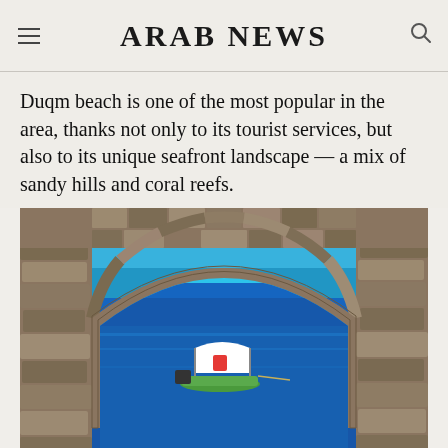ARAB NEWS
Duqm beach is one of the most popular in the area, thanks not only to its tourist services, but also to its unique seafront landscape — a mix of sandy hills and coral reefs.
[Figure (photo): A stone arch framing a view of the deep blue sea with a small boat with a white canopy visible through the arch opening. The arch is made of stacked rough stones and coral-colored rocks.]